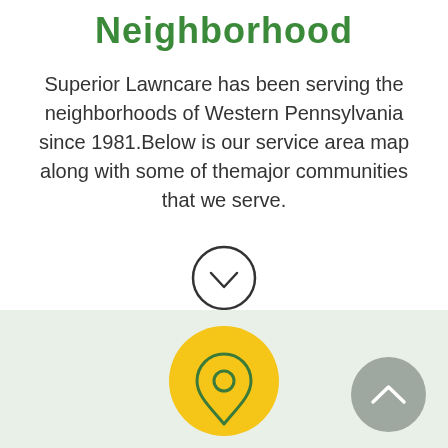Neighborhood
Superior Lawncare has been serving the neighborhoods of Western Pennsylvania since 1981.Below is our service area map along with some of themajor communities that we serve.
[Figure (other): Circular scroll-down chevron arrow button (down arrow inside circle outline)]
[Figure (map): Map section with a yellow circular location pin icon and a gray circular back-to-top button with upward chevron arrow]